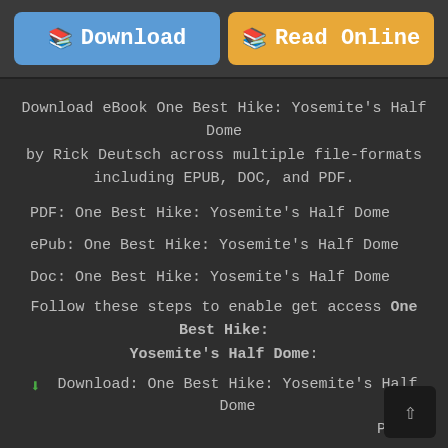[Figure (screenshot): Two buttons: blue Download button and orange Read Online button]
Download eBook One Best Hike: Yosemite’s Half Dome by Rick Deutsch across multiple file-formats including EPUB, DOC, and PDF.
PDF: One Best Hike: Yosemite’s Half Dome
ePub: One Best Hike: Yosemite’s Half Dome
Doc: One Best Hike: Yosemite’s Half Dome
Follow these steps to enable get access One Best Hike: Yosemite’s Half Dome:
Download: One Best Hike: Yosemite’s Half Dome PDF